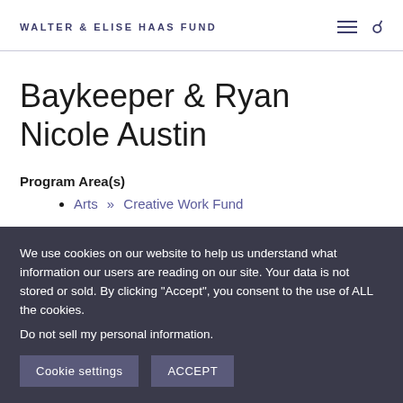WALTER & ELISE HAAS FUND
Baykeeper & Ryan Nicole Austin
Program Area(s)
Arts » Creative Work Fund
We use cookies on our website to help us understand what information our users are reading on our site. Your data is not stored or sold. By clicking "Accept", you consent to the use of ALL the cookies.
Do not sell my personal information.
Cookie settings   ACCEPT